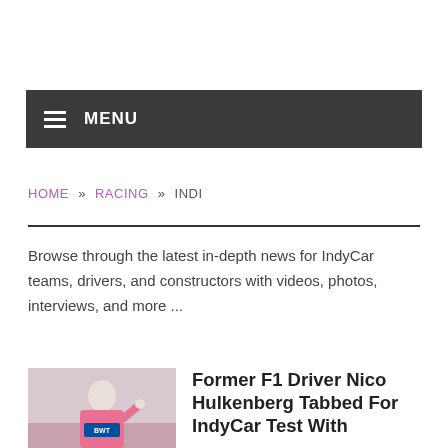MENU
HOME » RACING » INDI
Browse through the latest in-depth news for IndyCar teams, drivers, and constructors with videos, photos, interviews, and more ...
[Figure (photo): Photo of racing driver in pink/white racing suit giving thumbs up]
Former F1 Driver Nico Hulkenberg Tabbed For IndyCar Test With